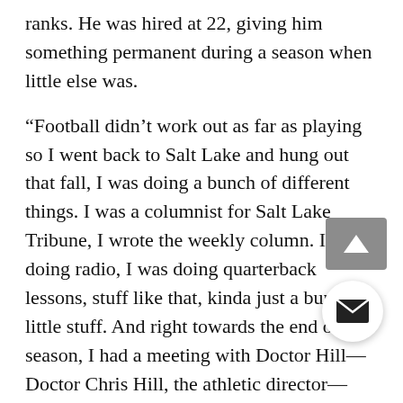ranks. He was hired at 22, giving him something permanent during a season when little else was.
“Football didn’t work out as far as playing so I went back to Salt Lake and hung out that fall, I was doing a bunch of different things. I was a columnist for Salt Lake Tribune, I wrote the weekly column. I was doing radio, I was doing quarterback lessons, stuff like that, kinda just a bunch of little stuff. And right towards the end of the season, I had a meeting with Doctor Hill—Doctor Chris Hill, the athletic director—cause I was thinking about maybe going into administration.”
Instead coach Kyle Whittingham asked